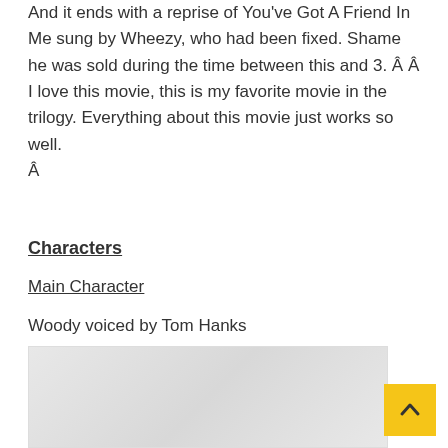And it ends with a reprise of You've Got A Friend In Me sung by Wheezy, who had been fixed. Shame he was sold during the time between this and 3. Â  Â I love this movie, this is my favorite movie in the trilogy. Everything about this movie just works so well.
Â
Characters
Main Character
Woody voiced by Tom Hanks
[Figure (photo): A faded/light image of what appears to be Woody the cowboy character from Toy Story]